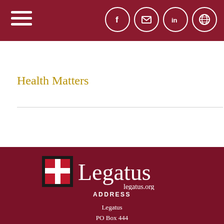Navigation bar with hamburger menu and social icons (Facebook, Email, LinkedIn, Globe)
Health Matters
[Figure (logo): Legatus logo with cross icon and text 'Legatus legatus.org' on dark red background]
ADDRESS
Legatus
PO Box 444
Ann Arbor, MI 4810...